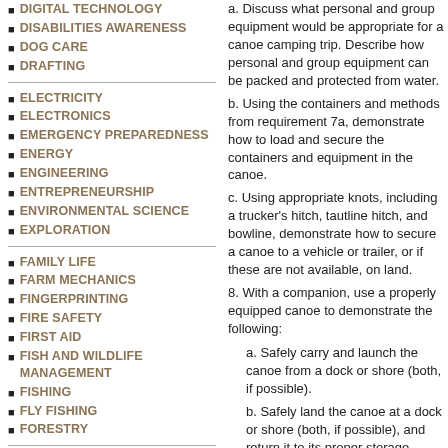DIGITAL TECHNOLOGY
DISABILITIES AWARENESS
DOG CARE
DRAFTING
ELECTRICITY
ELECTRONICS
EMERGENCY PREPAREDNESS
ENERGY
ENGINEERING
ENTREPRENEURSHIP
ENVIRONMENTAL SCIENCE
EXPLORATION
FAMILY LIFE
FARM MECHANICS
FINGERPRINTING
FIRE SAFETY
FIRST AID
FISH AND WILDLIFE MANAGEMENT
FISHING
FLY FISHING
FORESTRY
GAME DESIGN
GARDENING
GENEALOGY
GEOCACHING
a. Discuss what personal and group equipment would be appropriate for a canoe camping trip. Describe how personal and group equipment can be packed and protected from water.
b. Using the containers and methods from requirement 7a, demonstrate how to load and secure the containers and equipment in the canoe.
c. Using appropriate knots, including a trucker's hitch, tautline hitch, and bowline, demonstrate how to secure a canoe to a vehicle or trailer, or if these are not available, on land.
8. With a companion, use a properly equipped canoe to demonstrate the following:
a. Safely carry and launch the canoe from a dock or shore (both, if possible).
b. Safely land the canoe at a dock or shore (both, if possible), and return it to its proper storage location.